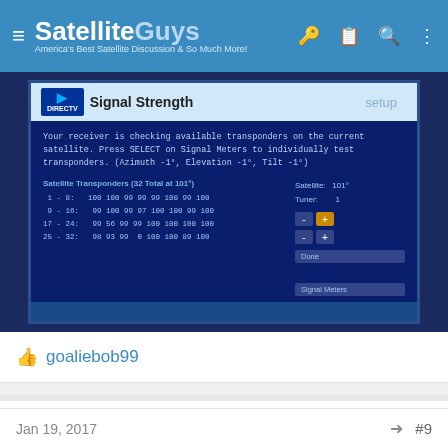SatelliteGuys — America's Best Satellite Discussion & So Much More!
[Figure (screenshot): DirecTV Signal Strength screen on a TV/monitor. Shows 'Your receiver is checking available transponders on the current satellite. Press SELECT on Signal Meters to individually test transponders. (Azimuth -1°, Elevation -1°, Tilt -1°)'. Satellite Transponders (32 Total at 101°): 1-8: 100 100 99 99 99 100 99 100; 9-16: 99 100 99 97 100 100 99 100; 17-24: 99 56 99 99 100 100 100 100; 25-32: 98 93 99 0 100 100 89 100. Satellite: 101°, Tuner: 1. Buttons: Done, Signal Meters.]
goaliebob99
texasbrit
SatelliteGuys Pro  Pub Member / Supporter
Jan 19, 2017  #9